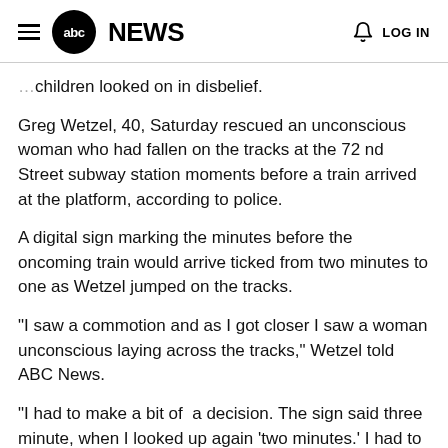abc NEWS   LOG IN
children looked on in disbelief.
Greg Wetzel, 40, Saturday rescued an unconscious woman who had fallen on the tracks at the 72 nd Street subway station moments before a train arrived at the platform, according to police.
A digital sign marking the minutes before the oncoming train would arrive ticked from two minutes to one as Wetzel jumped on the tracks.
"I saw a commotion and as I got closer I saw a woman unconscious laying across the tracks," Wetzel told ABC News.
"I had to make a bit of  a decision. The sign said three minute, when I looked up again 'two minutes.' I had to make a decision and I quickly assessed the risks."